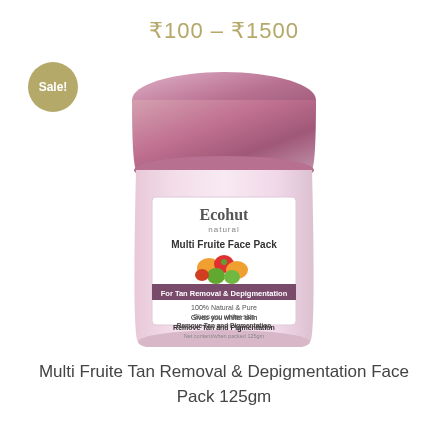₹100 – ₹1500
[Figure (photo): Product image of Ecohut Natural Multi Fruite Face Pack 125gm jar with rose-gold/mauve lid and pink body, label showing fruits, 'For Tan Removal & Depigmentation' banner, and text: 100% Natural & Pure, Gives you whiter skin, Remove Tan and Pigmentation, Net content/when packed 125gm. A 'Sale!' badge appears top-left.]
Multi Fruite Tan Removal & Depigmentation Face Pack 125gm